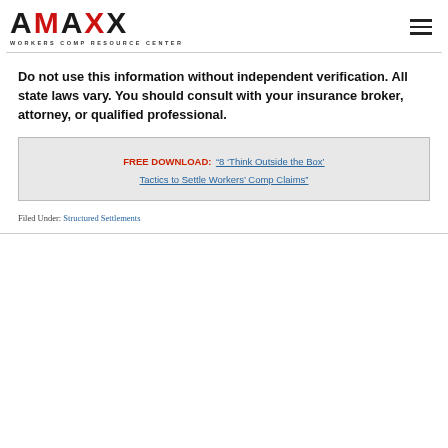[Figure (logo): AMAXX Workers Comp Resource Center logo with red dot accents on the letters A]
Do not use this information without independent verification. All state laws vary. You should consult with your insurance broker, attorney, or qualified professional.
FREE DOWNLOAD: “8 ‘Think Outside the Box’ Tactics to Settle Workers’ Comp Claims”
Filed Under: Structured Settlements